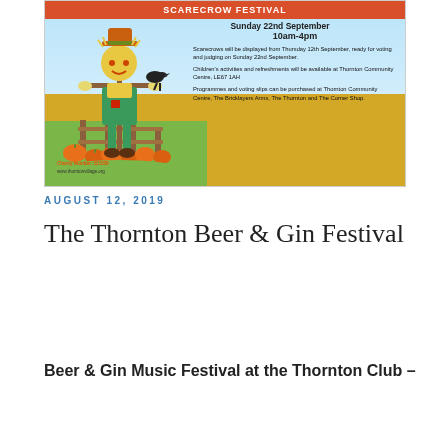[Figure (illustration): Scarecrow Festival poster with illustrated scarecrow in pumpkin patch, showing event date Sunday 22nd September 10am-4pm, details about scarecrow displays, children's activities, and voting slips at Thornton Community Centre]
AUGUST 12, 2019
The Thornton Beer & Gin Festival
Beer & Gin Music Festival at the Thornton Club –